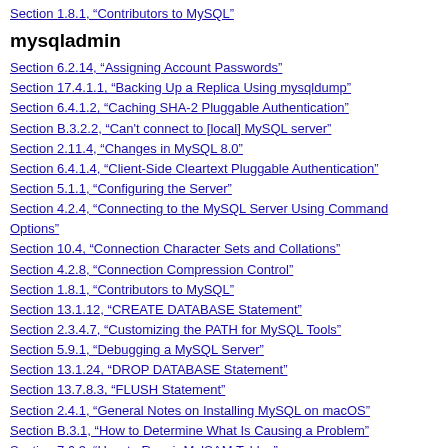Section 1.8.1, “Contributors to MySQL”
mysqladmin
Section 6.2.14, “Assigning Account Passwords”
Section 17.4.1.1, “Backing Up a Replica Using mysqldump”
Section 6.4.1.2, “Caching SHA-2 Pluggable Authentication”
Section B.3.2.2, “Can't connect to [local] MySQL server”
Section 2.11.4, “Changes in MySQL 8.0”
Section 6.4.1.4, “Client-Side Cleartext Pluggable Authentication”
Section 5.1.1, “Configuring the Server”
Section 4.2.4, “Connecting to the MySQL Server Using Command Options”
Section 10.4, “Connection Character Sets and Collations”
Section 4.2.8, “Connection Compression Control”
Section 1.8.1, “Contributors to MySQL”
Section 13.1.12, “CREATE DATABASE Statement”
Section 2.3.4.7, “Customizing the PATH for MySQL Tools”
Section 5.9.1, “Debugging a MySQL Server”
Section 13.1.24, “DROP DATABASE Statement”
Section 13.7.8.3, “FLUSH Statement”
Section 2.4.1, “General Notes on Installing MySQL on macOS”
Section B.3.1, “How to Determine What Is Causing a Problem”
Section 7.6.3, “How to Repair MyISAM Tables”
Section 1.6, “How to Report Bugs or Problems”
Section 23.2.1.2, “Installing NDB Cluster from RPM”
Section A.11, “MySQL 8.0 FAQ: MySQL Chinese, Japanese, and